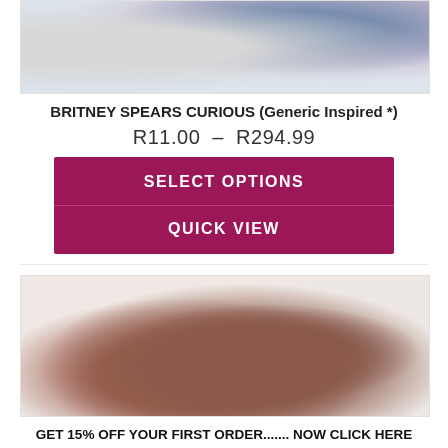[Figure (photo): Top portion of a product photo showing a perfume/fragrance box with blue floral design and white fabric background, partially cropped]
BRITNEY SPEARS CURIOUS (Generic Inspired *)
R11.00 – R294.99
SELECT OPTIONS
QUICK VIEW
[Figure (photo): Product photo showing a chocolate-colored nest or dried floral arrangement on a light pink/white background]
GET 15% OFF YOUR FIRST ORDER....... NOW CLICK HERE